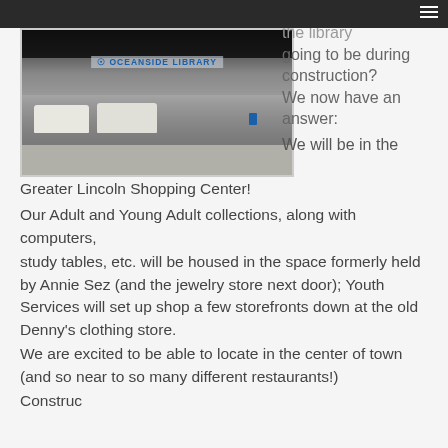[Figure (photo): Exterior photo of Oceanside Library storefront with cars parked in lot]
every day. Where is the library going to be during construction? We now have an answer: We will be in the Greater Lincoln Shopping Center!
Our Adult and Young Adult collections, along with computers, study tables, etc. will be housed in the space formerly held by Annie Sez (and the jewelry store next door); Youth Services will set up shop a few storefronts down at the old Denny's clothing store.
We are excited to be able to locate in the center of town (and so near to so many different restaurants!)